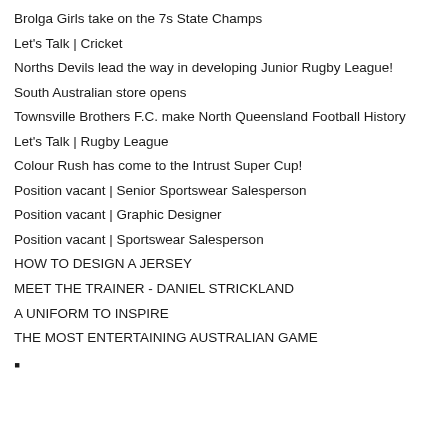Brolga Girls take on the 7s State Champs
Let's Talk | Cricket
Norths Devils lead the way in developing Junior Rugby League!
South Australian store opens
Townsville Brothers F.C. make North Queensland Football History
Let's Talk | Rugby League
Colour Rush has come to the Intrust Super Cup!
Position vacant | Senior Sportswear Salesperson
Position vacant | Graphic Designer
Position vacant | Sportswear Salesperson
HOW TO DESIGN A JERSEY
MEET THE TRAINER - DANIEL STRICKLAND
A UNIFORM TO INSPIRE
THE MOST ENTERTAINING AUSTRALIAN GAME